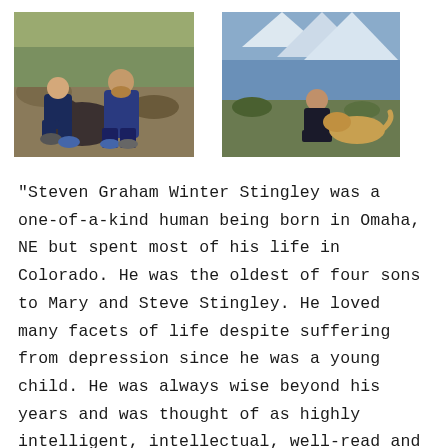[Figure (photo): A man and a young boy sit outdoors on rocky ground with a shaggy dog between them. Both are in casual clothing. Trees and rocks visible in background.]
[Figure (photo): A person sitting near a lake or mountain water body outdoors with a dog (golden/light colored). Mountains and snow visible in background.]
“Steven Graham Winter Stingley was a one-of-a-kind human being born in Omaha, NE but spent most of his life in Colorado. He was the oldest of four sons to Mary and Steve Stingley. He loved many facets of life despite suffering from depression since he was a young child. He was always wise beyond his years and was thought of as highly intelligent, intellectual, well-read and philosophical